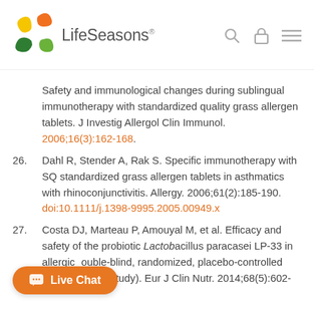LifeSeasons
Safety and immunological changes during sublingual immunotherapy with standardized quality grass allergen tablets. J Investig Allergol Clin Immunol. 2006;16(3):162-168.
26. Dahl R, Stender A, Rak S. Specific immunotherapy with SQ standardized grass allergen tablets in asthmatics with rhinoconjunctivitis. Allergy. 2006;61(2):185-190. doi:10.1111/j.1398-9995.2005.00949.x
27. Costa DJ, Marteau P, Amouyal M, et al. Efficacy and safety of the probiotic Lactobacillus paracasei LP-33 in allergic rhinitis: a double-blind, randomized, placebo-controlled trial (GA2LEN Study). Eur J Clin Nutr. 2014;68(5):602-